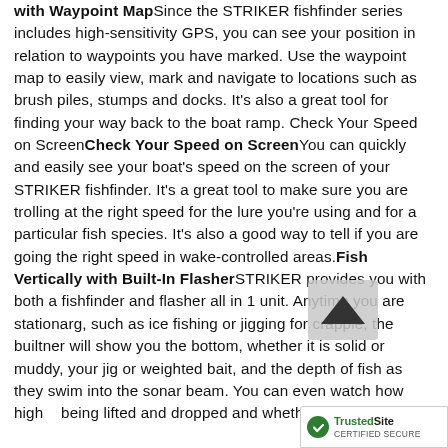with Waypoint Map Since the STRIKER fishfinder series includes high-sensitivity GPS, you can see your position in relation to waypoints you have marked. Use the waypoint map to easily view, mark and navigate to locations such as brush piles, stumps and docks. It's also a great tool for finding your way back to the boat ramp. Check Your Speed on Screen Check Your Speed on Screen You can quickly and easily see your boat's speed on the screen of your STRIKER fishfinder. It's a great tool to make sure you are trolling at the right speed for the lure you're using and for a particular fish species. It's also a good way to tell if you are going the right speed in wake-controlled areas. Fish Vertically with Built-In Flasher STRIKER provides you with both a fishfinder and flasher all in 1 unit. Anytime you are stationary, such as ice fishing or jigging for crappie, the built-in flasher will show you the bottom, whether it is solid or muddy, your jig or weighted bait, and the depth of fish as they swim into the sonar beam. You can even watch how high your jig is being lifted and dropped and whether fish move...